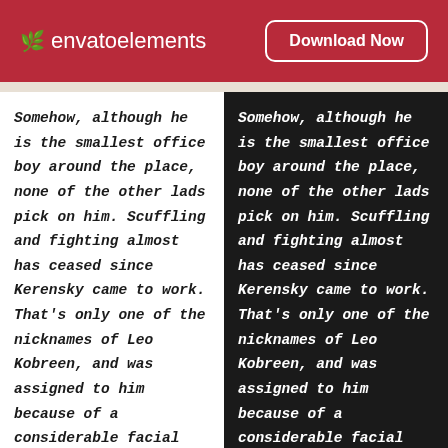envato elements | Download Now
Somehow, although he is the smallest office boy around the place, none of the other lads pick on him. Scuffling and fighting almost has ceased since Kerensky came to work. That's only one of the nicknames of Leo Kobreen, and was assigned to him because of a considerable facial resemblance to the perpetually fleeing
Somehow, although he is the smallest office boy around the place, none of the other lads pick on him. Scuffling and fighting almost has ceased since Kerensky came to work. That's only one of the nicknames of Leo Kobreen, and was assigned to him because of a considerable facial resemblance to the perpetually fleeing